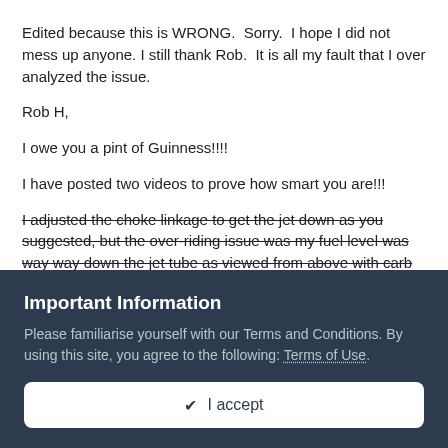Edited because this is WRONG.  Sorry.  I hope I did not mess up anyone. I still thank Rob.  It is all my fault that I over analyzed the issue.
Rob H,
I owe you a pint of Guinness!!!!
I have posted two videos to prove how smart you are!!!
I adjusted the choke linkage to get the jet down as you suggested, but the over-riding issue was my fuel level was way way down the jet tube as viewed from above with carb piston removed.  I never would have checked it without your suggestion.  I bent the lever in the carb bowl so that the fuel
Important Information
Please familiarise yourself with our Terms and Conditions. By using this site, you agree to the following: Terms of Use.
✓  I accept